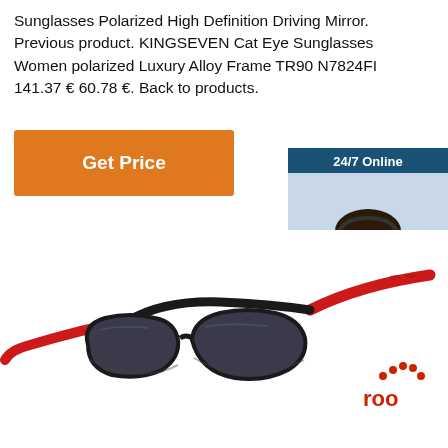Sunglasses Polarized High Definition Driving Mirror. Previous product. KINGSEVEN Cat Eye Sunglasses Women polarized Luxury Alloy Frame TR90 N7824FI 141.37 € 60.78 €. Back to products.
[Figure (other): Orange 'Get Price' button]
[Figure (infographic): 24/7 Online chat widget with photo of female customer service representative wearing headset, blue background, 'Click here for free chat!' text, and orange QUOTATION button]
[Figure (photo): Sunglasses with black frame and red arms/temples, dark polarized lenses, sport/driving style, shown at an angle on white background]
[Figure (logo): Red logo with dots arranged in arc above text 'roo']